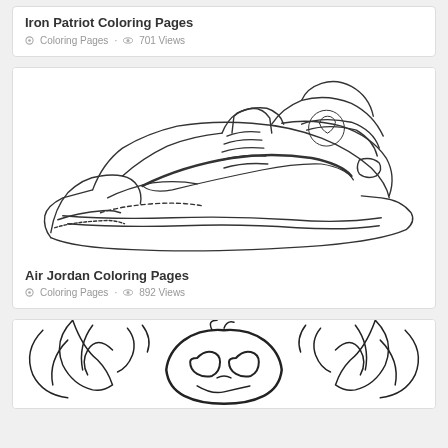Iron Patriot Coloring Pages
Coloring Pages · 701 Views
[Figure (illustration): Line drawing coloring page of an Air Jordan sneaker/basketball shoe, showing high-top Nike Air Jordan shoe with swoosh logo and Jumpman logo, suitable for coloring]
Air Jordan Coloring Pages
Coloring Pages · 892 Views
[Figure (illustration): Line drawing coloring page of a decorative pumpkin/jack-o-lantern face with swirling designs and leaves around it]